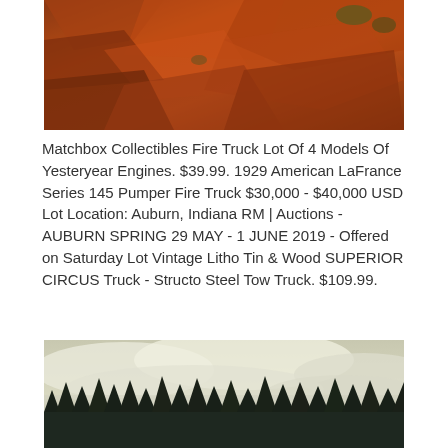[Figure (photo): Overhead view of reddish-brown rocks lit by warm amber light with patches of green vegetation in the cracks.]
Matchbox Collectibles Fire Truck Lot Of 4 Models Of Yesteryear Engines. $39.99. 1929 American LaFrance Series 145 Pumper Fire Truck $30,000 - $40,000 USD Lot Location: Auburn, Indiana RM | Auctions - AUBURN SPRING 29 MAY - 1 JUNE 2019 - Offered on Saturday Lot Vintage Litho Tin & Wood SUPERIOR CIRCUS Truck - Structo Steel Tow Truck. $109.99.
[Figure (photo): Misty forest landscape with dark evergreen tree silhouettes against a pale sky filled with low clouds and fog.]